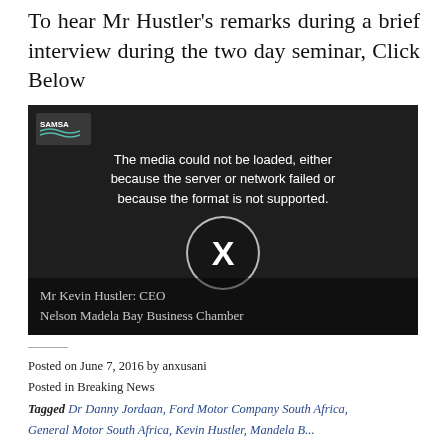To hear Mr Hustler's remarks during a brief interview during the two day seminar, Click Below
[Figure (screenshot): Embedded video player showing an error message: 'The media could not be loaded, either because the server or network failed or because the format is not supported.' with an X button circle. A man's face is visible in the dark background. Caption reads: Mr Kevin Hustler: CEO Nelson Madela Bay Business Chamber]
Posted on June 7, 2016 by anxusani
Posted in Breaking News
Tagged Dr Danny Jordaan, Ford Motor Company South Africa, General Motors South Africa, Kevin Hustler, Mandela Bay...